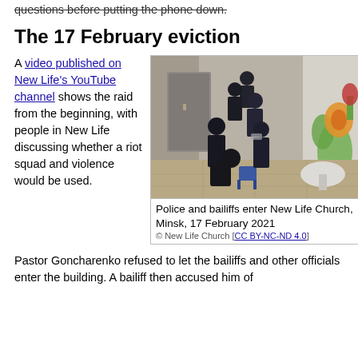questions before putting the phone down.
The 17 February eviction
A video published on New Life's YouTube channel shows the raid from the beginning, with people in New Life discussing whether a riot squad and violence would be used.
[Figure (photo): Police and bailiffs in dark uniforms entering a building corridor of New Life Church in Minsk on 17 February 2021. Several officers are visible filing through a doorway into a room with children's wall art visible on the right side.]
Police and bailiffs enter New Life Church, Minsk, 17 February 2021
© New Life Church [CC BY-NC-ND 4.0]
Pastor Goncharenko refused to let the bailiffs and other officials enter the building. A bailiff then accused him of